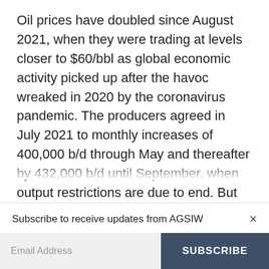Oil prices have doubled since August 2021, when they were trading at levels closer to $60/bbl as global economic activity picked up after the havoc wreaked in 2020 by the coronavirus pandemic. The producers agreed in July 2021 to monthly increases of 400,000 b/d through May and thereafter by 432,000 b/d until September, when output restrictions are due to end. But supply has fallen far short of the collective target with the deficit
Subscribe to receive updates from AGSIW
Email Address
SUBSCRIBE